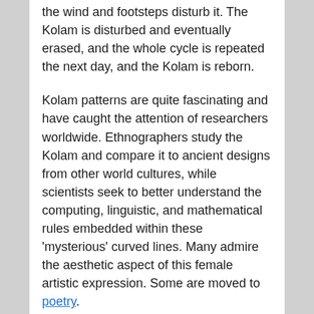the wind and footsteps disturb it. The Kolam is disturbed and eventually erased, and the whole cycle is repeated the next day, and the Kolam is reborn.
Kolam patterns are quite fascinating and have caught the attention of researchers worldwide. Ethnographers study the Kolam and compare it to ancient designs from other world cultures, while scientists seek to better understand the computing, linguistic, and mathematical rules embedded within these 'mysterious' curved lines. Many admire the aesthetic aspect of this female artistic expression. Some are moved to poetry.
But it is the Indian woman, from vegetable vendor to ISRO rocket engineer, who have actually practiced and kept the tradition of Kolam alive across centuries. They are connecting with the